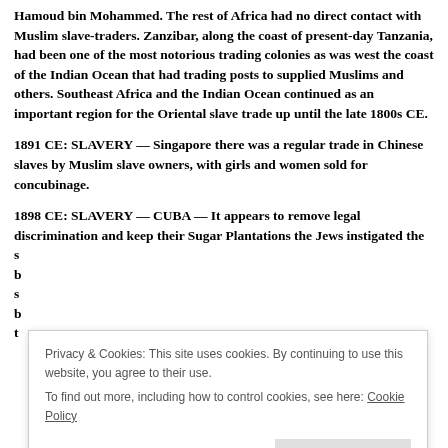Hamoud bin Mohammed. The rest of Africa had no direct contact with Muslim slave-traders. Zanzibar, along the coast of present-day Tanzania, had been one of the most notorious trading colonies as was west the coast of the Indian Ocean that had trading posts to supplied Muslims and others. Southeast Africa and the Indian Ocean continued as an important region for the Oriental slave trade up until the late 1800s CE.
1891 CE: SLAVERY — Singapore there was a regular trade in Chinese slaves by Muslim slave owners, with girls and women sold for concubinage.
1898 CE: SLAVERY — CUBA — It appears to remove legal discrimination and keep their Sugar Plantations the Jews instigated the s... b... s... b... t...